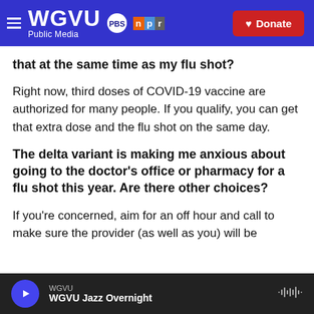[Figure (screenshot): WGVU Public Media header bar with PBS and NPR logos and a Donate button]
that at the same time as my flu shot?
Right now, third doses of COVID-19 vaccine are authorized for many people. If you qualify, you can get that extra dose and the flu shot on the same day.
The delta variant is making me anxious about going to the doctor's office or pharmacy for a flu shot this year. Are there other choices?
If you're concerned, aim for an off hour and call to make sure the provider (as well as you) will be
WGVU  WGVU Jazz Overnight